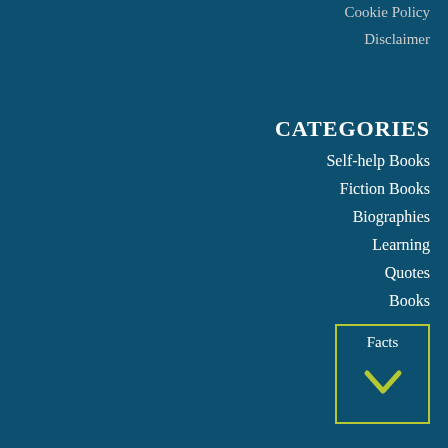Cookie Policy
Disclaimer
CATEGORIES
Self-help Books
Fiction Books
Biographies
Learning
Quotes
Books
Facts